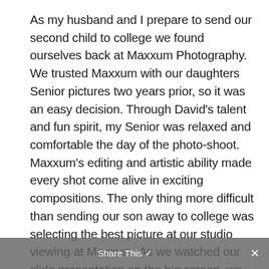As my husband and I prepare to send our second child to college we found ourselves back at Maxxum Photography. We trusted Maxxum with our daughters Senior pictures two years prior, so it was an easy decision. Through David's talent and fun spirit, my Senior was relaxed and comfortable the day of the photo-shoot. Maxxum's editing and artistic ability made every shot come alive in exciting compositions. The only thing more difficult than sending our son away to college was selecting the best picture at our studio viewing at Maxxum. As we watched our slide presentation on the big screen, we could easily select our favorites on the touch pad, navigating through the pictures from our photo-shoot. Thank you Maxxum Photography, you helped me create lasting memories with my daughter and
Share This ✓ ×